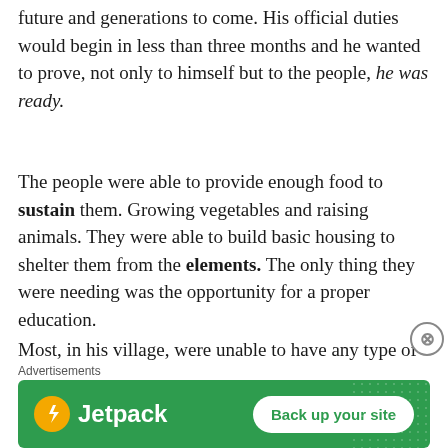future and generations to come. His official duties would begin in less than three months and he wanted to prove, not only to himself but to the people, he was ready.
The people were able to provide enough food to sustain them. Growing vegetables and raising animals. They were able to build basic housing to shelter them from the elements. The only thing they were needing was the opportunity for a proper education.
Most, in his village, were unable to have any type of a formal education. They would use outdated material and books that were donated by
[Figure (other): Jetpack advertisement banner with green background, Jetpack logo with lightning bolt icon, and 'Back up your site' button. Labeled 'Advertisements' above.]